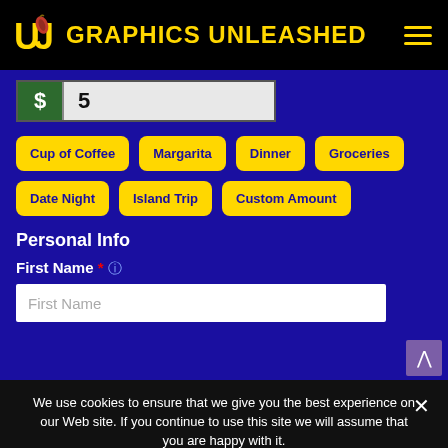GRAPHICS UNLEASHED
$ 5
Cup of Coffee
Margarita
Dinner
Groceries
Date Night
Island Trip
Custom Amount
Personal Info
First Name
First Name
We use cookies to ensure that we give you the best experience on our Web site. If you continue to use this site we will assume that you are happy with it.
OK